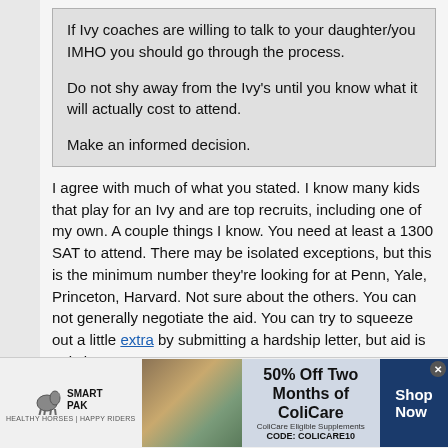If Ivy coaches are willing to talk to your daughter/you IMHO you should go through the process.

Do not shy away from the Ivy's until you know what it will actually cost to attend.

Make an informed decision.
I agree with much of what you stated. I know many kids that play for an Ivy and are top recruits, including one of my own. A couple things I know. You need at least a 1300 SAT to attend. There may be isolated exceptions, but this is the minimum number they're looking for at Penn, Yale, Princeton, Harvard. Not sure about the others. You can not generally negotiate the aid. You can try to squeeze out a little extra by submitting a hardship letter, but aid is strictly
[Figure (screenshot): SmartPak advertisement banner with horse logo, product image of horse/rider, 50% Off Two Months of ColiCare offer with CODE: COLICARE10, and Shop Now button]